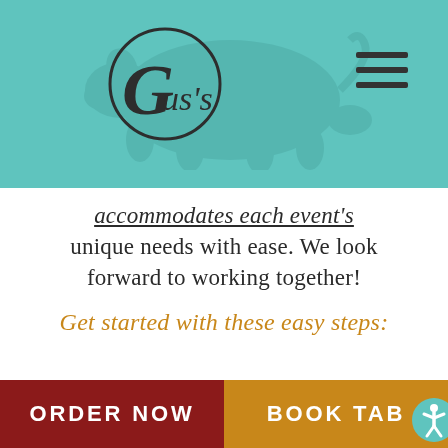[Figure (logo): Gus's restaurant logo with circular border on teal background with faint pig watermark and hamburger menu icon]
accommodates each event's unique needs with ease. We look forward to working together!
Get started with these easy steps:
[Figure (illustration): Decorative ornamental divider line with scroll flourish in center]
ORDER NOW   BOOK TABLE